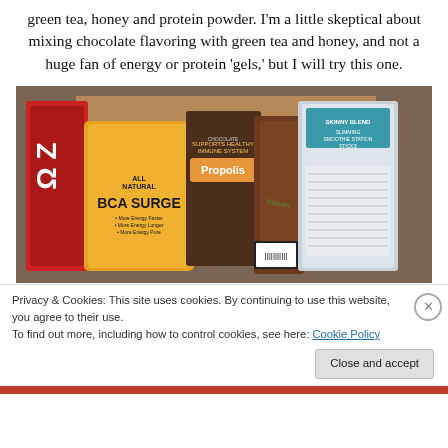green tea, honey and protein powder. I'm a little skeptical about mixing chocolate flavoring with green tea and honey, and not a huge fan of energy or protein 'gels,' but I will try this one.
[Figure (photo): A box containing several health supplement product packets including BCAA/SURGE energy gel (orange/yellow packet, All Natural), a Propolis supplement packet (brown), a red protein powder packet, a Skinny Blend Slimming Smoothie packet (silver/teal), and an Enliven packet (brown/green), all arranged standing upright in a cardboard box.]
Privacy & Cookies: This site uses cookies. By continuing to use this website, you agree to their use.
To find out more, including how to control cookies, see here: Cookie Policy